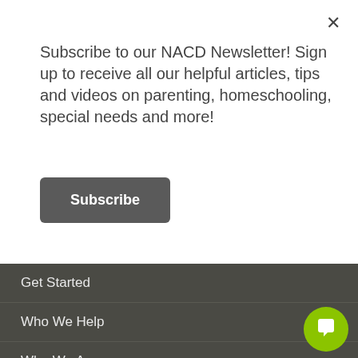Subscribe to our NACD Newsletter! Sign up to receive all our helpful articles, tips and videos on parenting, homeschooling, special needs and more!
Subscribe
Get Started
Who We Help
Who We Are
NACD Staff & Key Personnel
Where to Go for Help